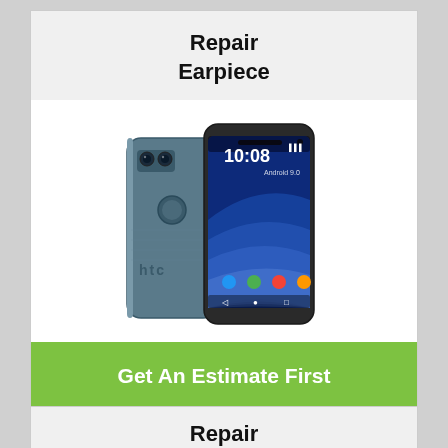Repair
Earpiece
[Figure (photo): HTC smartphone shown from front and back angles. The front shows the display with time 10:08 and Android UI, the back shows dual cameras, fingerprint sensor, and HTC branding.]
Get An Estimate First
Repair